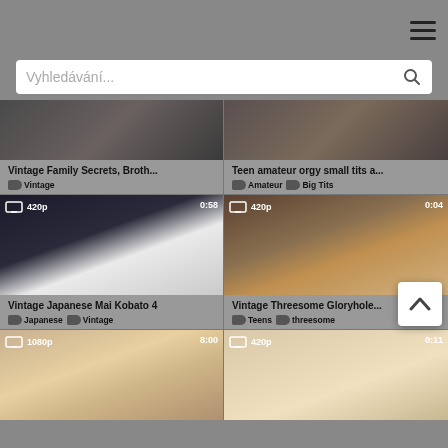Navigation menu (hamburger icon)
Vyhledávání...
[Figure (screenshot): Thumbnail for 'Vintage Family Secrets, Broth...' video]
Vintage Family Secrets, Broth...
Vintage
[Figure (screenshot): Thumbnail for 'Teen amateur orgy small tits a...' video]
Teen amateur orgy small tits a...
Amateur  Big Tits
[Figure (screenshot): Thumbnail for 'Vintage Japanese Mai Kobato 4' video, 420p, 0:58]
Vintage Japanese Mai Kobato 4
Japanese  Vintage
[Figure (screenshot): Thumbnail for 'Vintage Threesome Gloryhole...' video, 420p, 0:04]
Vintage Threesome Gloryhole...
Teens  threesome
[Figure (screenshot): Thumbnail for bottom-left video, 1080p, 8:00]
[Figure (screenshot): Thumbnail for bottom-right video, 420p, 0:11]